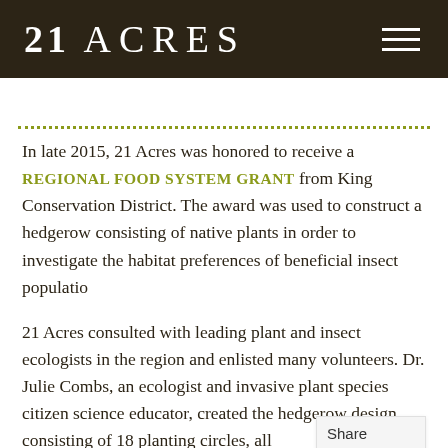21 ACRES
In late 2015, 21 Acres was honored to receive a REGIONAL FOOD SYSTEM GRANT from King Conservation District. The award was used to construct a hedgerow consisting of native plants in order to investigate the habitat preferences of beneficial insect populations.
21 Acres consulted with leading plant and insect ecologists in the region and enlisted many volunteers. Dr. Julie Combs, an ecologist and invasive plant species citizen science educator, created the hedgerow design consisting of 18 planting circles, all